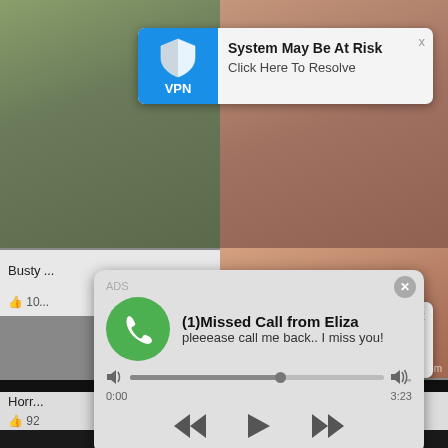[Figure (screenshot): Screenshot of a mobile browser/app with multiple overlapping advertisements and popups over video thumbnail content]
System May Be At Risk
Click Here To Resolve
System May Be At Risk
Click Here To Resolve
ADS
Jeniffer 2000
(00:12)🎵
LIVE
ADS
(1)Missed Call from Eliza
pleeease call me back.. I miss you!
0:00  3:23
Busty
👍 10
Horr
👍 92